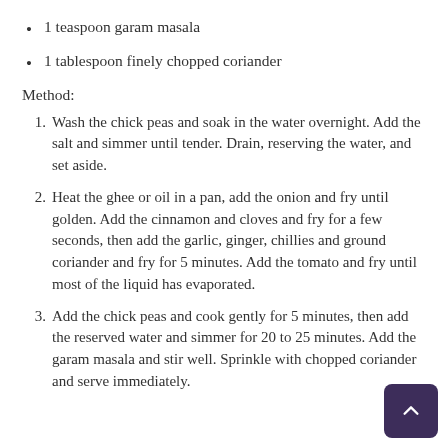1 teaspoon garam masala
1 tablespoon finely chopped coriander
Method:
1. Wash the chick peas and soak in the water overnight.  Add the salt and simmer until tender.  Drain, reserving the water, and set aside.
2. Heat the ghee or oil in a pan, add the onion and fry until golden.  Add the cinnamon and cloves and fry for a few seconds, then add the garlic, ginger, chillies and ground coriander and fry for 5 minutes.  Add the tomato and fry until most of the liquid has evaporated.
3. Add the chick peas and cook gently for 5 minutes, then add the reserved water and simmer for 20 to 25 minutes.  Add the garam masala and stir well.  Sprinkle with chopped coriander and serve immediately.